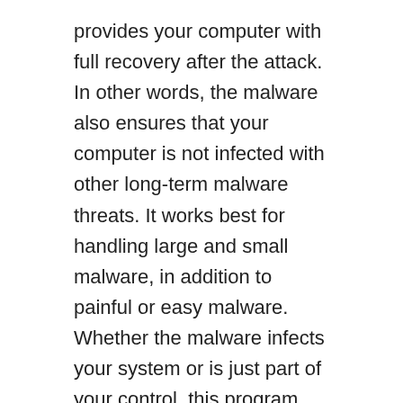provides your computer with full recovery after the attack. In other words, the malware also ensures that your computer is not infected with other long-term malware threats. It works best for handling large and small malware, in addition to painful or easy malware. Whether the malware infects your system or is just part of your control, this program can eliminate it.
This Anti-Malware helps in cases where well-known and complicated antivirus products get stuck. Once malware is detected, it is added to the GridinSoft database in 2-12 hours. Up-to-date databases and smart algorithms give your PC the maximum possible level of security.